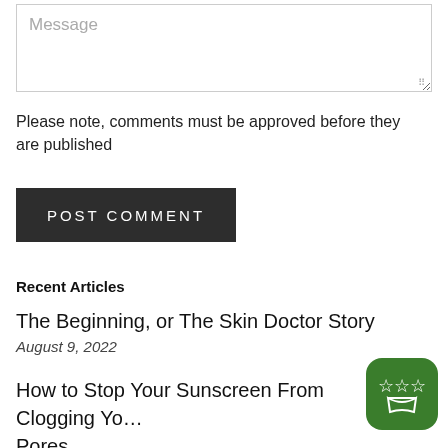[Figure (screenshot): Message textarea input box with placeholder text 'Message' and resize handle]
Please note, comments must be approved before they are published
POST COMMENT
Recent Articles
The Beginning, or The Skin Doctor Story
August 9, 2022
How to Stop Your Sunscreen From Clogging Your Pores
[Figure (logo): Green rounded square badge with star/crown icon]